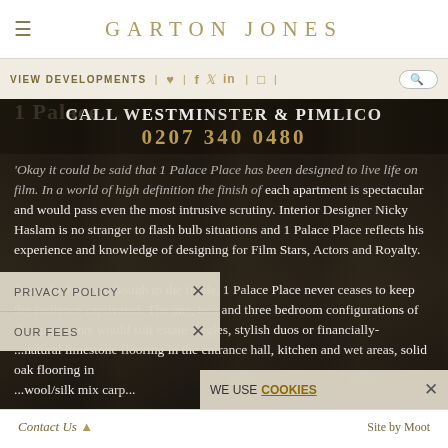GARTON JONES
VIEW DEVELOPMENTS | ♥ | f | twitter | in | instagram | [search]
CALL WESTMINSTER & PIMLICO
0207 340 0480
'Okay it could be said that 1 Palace Place has been designed to live life on film. In a world of high definition the finish of each apartment is spectacular and would pass even the most intrusive scrutiny. Interior Designer Nicky Haslam is no stranger to flash bulb situations and 1 Palace Place reflects his experience and knowledge of designing for Film Stars, Actors and Royalty.

From the first act though to the finale, 1 Palace Place never ceases to keep the audience captivated. The one, two and three bedroom configurations of the apartments would suit estate singles, stylish duos or financially- ... natural limestone flooring in the entrance hall, kitchen and wet areas, solid oak flooring in ... wool/silk mix carp... ...ments would ...
PRIVACY POLICY
OUR FEES
WE USE COOKIES
Contact Us ▲   Site by Moot